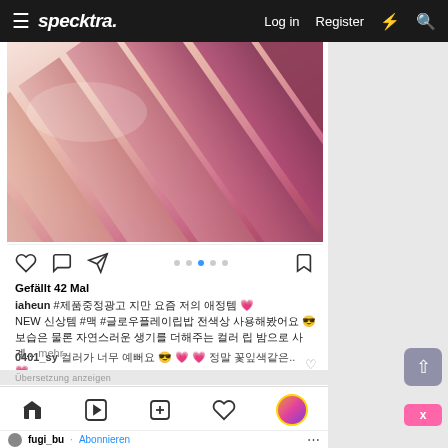≡ specktra.   Log in   Register   ⚡   🔍
[Figure (photo): Instagram post showing lip balm color swatches on skin — multiple shades from nude/peach to deep berry/pink arranged diagonally across a hand/arm]
Gefällt 42 Mal
iaheun #제품중정광고 지만 요즘 저의 애정템 💗
NEW 신상템 #맥 #글로우플레이립밥 전색상 사용해봤어요 😎
보습은 물론 자연스러운 생기를 더해주는 컬러 립 밤으로 사계... mehr
0401_sy 컬러가 너무 예뻐요 😎 💗 💗 정말 꽃잎색같은.. 💗
Übersetzung anzeigen
Kein Netz  ☁  02:36   ↗ 91%  🔋
BELIEBTESTE BEITRÄGE
#macgowplaylipbalm
fugi_bu · Abonnieren ···